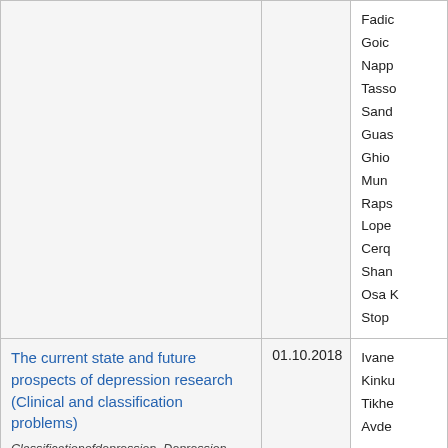| Title | Date | Authors |
| --- | --- | --- |
|  |  | Fadic
Goic
Napp
Tasso
Sand
Guas
Ghio
Mun
Raps
Lope
Cerq
Shan
Osa K
Stop |
| The current state and future prospects of depression research (Clinical and classification problems)
Classificationofdepression  Depression | 01.10.2018 | Ivane
Kinku
Tikhe
Avde |